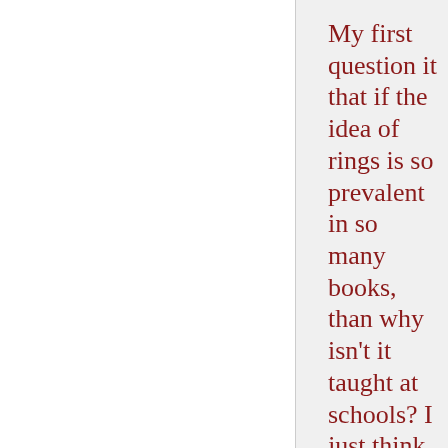My first question it that if the idea of rings is so prevalent in so many books, than why isn't it taught at schools? I just think that it is weird that this idea could be in so many different